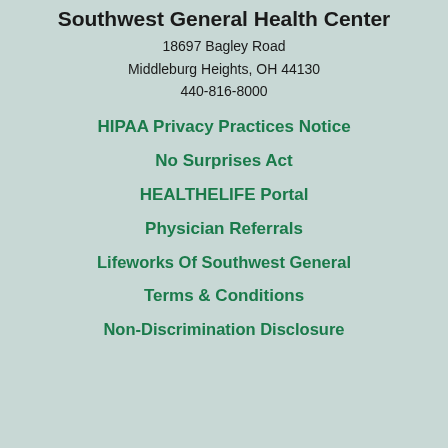Southwest General Health Center
18697 Bagley Road
Middleburg Heights, OH 44130
440-816-8000
HIPAA Privacy Practices Notice
No Surprises Act
HEALTHELIFE Portal
Physician Referrals
Lifeworks Of Southwest General
Terms & Conditions
Non-Discrimination Disclosure